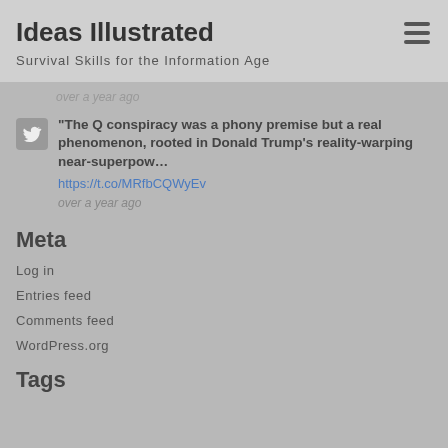Ideas Illustrated
Survival Skills for the Information Age
over a year ago
"The Q conspiracy was a phony premise but a real phenomenon, rooted in Donald Trump's reality-warping near-superpow… https://t.co/MRfbCQWyEv over a year ago
Meta
Log in
Entries feed
Comments feed
WordPress.org
Tags